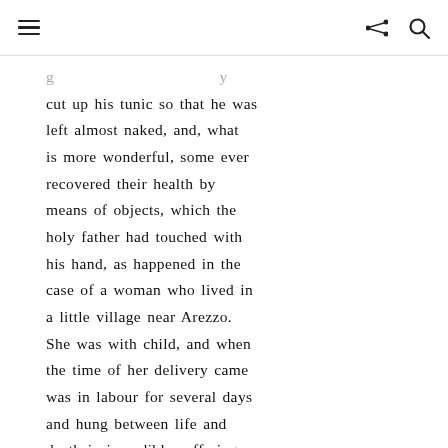≡  ⊲ 🔍
cut up his tunic so that he was left almost naked, and, what is more wonderful, some ever recovered their health by means of objects, which the holy father had touched with his hand, as happened in the case of a woman who lived in a little village near Arezzo. She was with child, and when the time of her delivery came was in labour for several days and hung between life and death in incredible suffering. Her neighbours and kinsfolk had heard that the blessed Francis was going to a certain